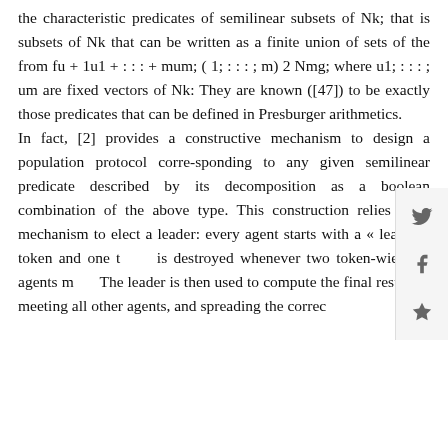the characteristic predicates of semilinear subsets of Nk; that is subsets of Nk that can be written as a finite union of sets of the from fu + 1u1 + : : : + mum; ( 1; : : : ; m) 2 Nmg; where u1; : : : ; um are fixed vectors of Nk: They are known ([47]) to be exactly those predicates that can be defined in Presburger arithmetics. In fact, [2] provides a constructive mechanism to design a population protocol corre-sponding to any given semilinear predicate described by its decomposition as a boolean combination of the above type. This construction relies on a mechanism to elect a leader: every agent starts with a « leader » token and one token is destroyed whenever two token-wielding agents meet. The leader is then used to compute the final result by meeting all other agents, and spreading the correct